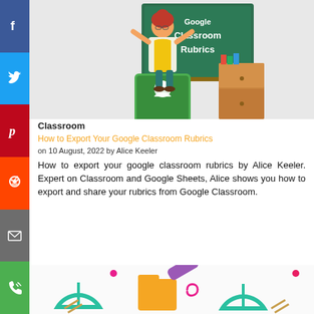[Figure (illustration): Cartoon teacher woman in yellow apron standing in front of a green chalkboard reading 'Google Classroom Rubrics', with a Google Classroom app icon and a wooden cabinet in the background]
Classroom
How to Export Your Google Classroom Rubrics
on 10 August, 2022 by Alice Keeler
How to export your google classroom rubrics by Alice Keeler. Expert on Classroom and Google Sheets, Alice shows you how to export and share your rubrics from Google Classroom.
[Figure (illustration): Colorful illustration with school/art supply items including protractors, a folder/book, pen, and paper clips on a light background]